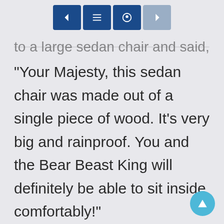< [list] [settings] >
to a large sedan chair and said,
“Your Majesty, this sedan chair was made out of a single piece of wood. It’s very big and rainproof. You and the Bear Beast King will definitely be able to sit inside comfortably!”
“Not bad.” Zhou Ji was very